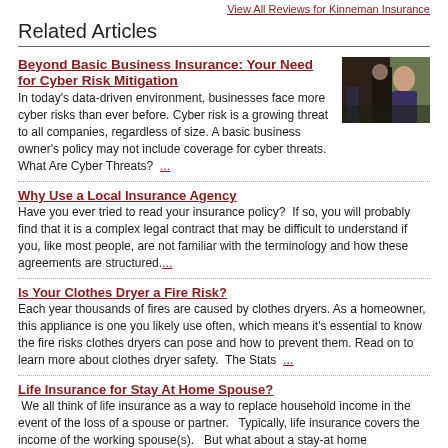View All Reviews for Kinneman Insurance
Related Articles
Beyond Basic Business Insurance: Your Need for Cyber Risk Mitigation
In today's data-driven environment, businesses face more cyber risks than ever before. Cyber risk is a growing threat to all companies, regardless of size. A basic business owner's policy may not include coverage for cyber threats. What Are Cyber Threats?  ...
[Figure (photo): Thumbnail photo of a person, likely used as article image for cyber risk article]
Why Use a Local Insurance Agency
Have you ever tried to read your insurance policy?   If so, you will probably find that it is a complex legal contract that may be difficult to understand if you, like most people, are not familiar with the terminology and how these agreements are structured....
Is Your Clothes Dryer a Fire Risk?
Each year thousands of fires are caused by clothes dryers. As a homeowner, this appliance is one you likely use often, which means it's essential to know the fire risks clothes dryers can pose and how to prevent them. Read on to learn more about clothes dryer safety.  The Stats  ...
Life Insurance for Stay At Home Spouse?
 We all think of life insurance as a way to replace household income in the event of the loss of a spouse or partner.   Typically, life insurance covers the income of the working spouse(s).   But what about a stay-at home